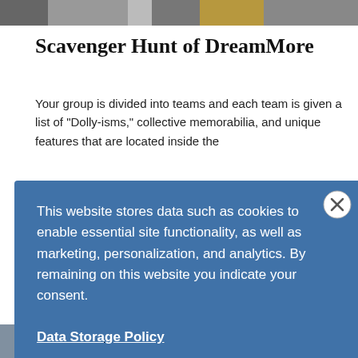[Figure (photo): Top image strip showing people or scenery, partially cropped]
Scavenger Hunt of DreamMore
Your group is divided into teams and each team is given a list of "Dolly-isms," collective memorabilia, and unique features that are located inside the resort. The ... a selfie of ... race.
This website stores data such as cookies to enable essential site functionality, as well as marketing, personalization, and analytics. By remaining on this website you indicate your consent.
Data Storage Policy
[Figure (photo): Sunset landscape with mountains and orange sky, partially visible]